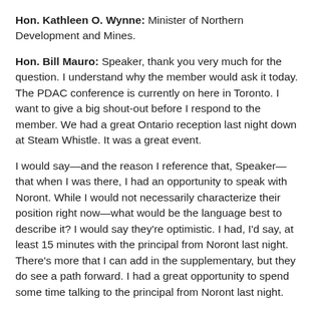Hon. Kathleen O. Wynne: Minister of Northern Development and Mines.
Hon. Bill Mauro: Speaker, thank you very much for the question. I understand why the member would ask it today. The PDAC conference is currently on here in Toronto. I want to give a big shout-out before I respond to the member. We had a great Ontario reception last night down at Steam Whistle. It was a great event.
I would say—and the reason I reference that, Speaker—that when I was there, I had an opportunity to speak with Noront. While I would not necessarily characterize their position right now—what would be the language best to describe it? I would say they're optimistic. I had, I'd say, at least 15 minutes with the principal from Noront last night. There's more that I can add in the supplementary, but they do see a path forward. I had a great opportunity to spend some time talking to the principal from Noront last night. We have some positive developments to share.